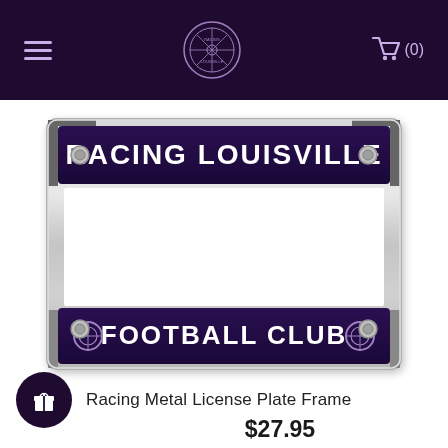Racing Louisville FC online store navigation bar
[Figure (photo): Racing Louisville FC metal license plate frame with dark navy/purple background. Top bar reads 'RACING LOUISVILLE' in white bold text. Bottom bar reads 'FOOTBALL CLUB' in white bold text with club logos on either side. The frame is chrome/silver colored.]
Racing Metal License Plate Frame
$27.95